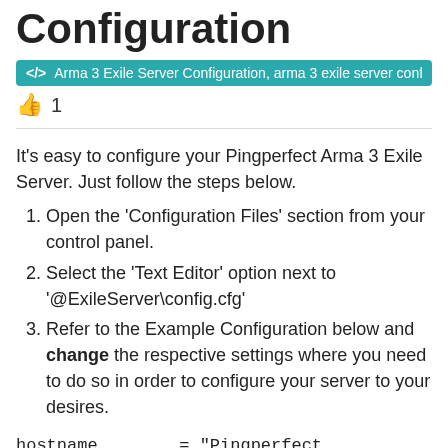Configuration
Arma 3 Exile Server Configuration, arma 3 exile server configura
1
It's easy to configure your Pingperfect Arma 3 Exile Server. Just follow the steps below.
Open the 'Configuration Files' section from your control panel.
Select the 'Text Editor' option next to '@ExileServer\config.cfg'
Refer to the Example Configuration below and change the respective settings where you need to do so in order to configure your server to your desires.
hostname        = "Pingperfect Exilemod.com (1.0.3|1.70)";